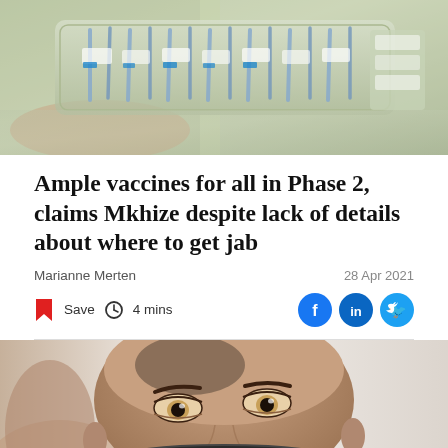[Figure (photo): Close-up photo of syringes in a translucent plastic tray, with vaccine labels visible]
Ample vaccines for all in Phase 2, claims Mkhize despite lack of details about where to get jab
Marianne Merten
28 Apr 2021
Save  4 mins
[Figure (photo): Close-up portrait of a man wearing a dark face mask with gold emblem, only eyes and forehead visible]